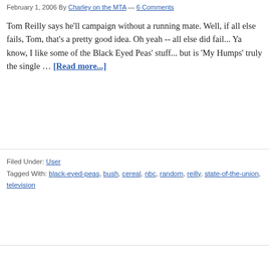February 1, 2006 By Charley on the MTA — 6 Comments
Tom Reilly says he'll campaign without a running mate. Well, if all else fails, Tom, that's a pretty good idea. Oh yeah -- all else did fail... Ya know, I like some of the Black Eyed Peas' stuff... but is 'My Humps' truly the single … [Read more...]
Filed Under: User
Tagged With: black-eyed-peas, bush, cereal, nbc, random, reilly, state-of-the-union, television